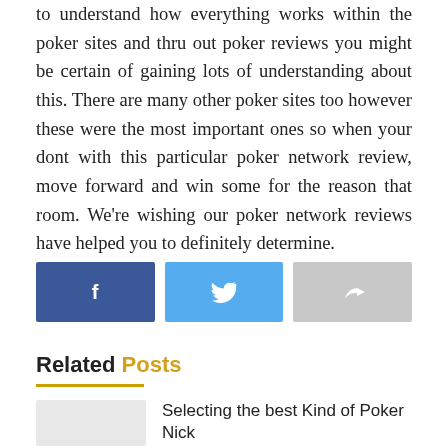to understand how everything works within the poker sites and thru out poker reviews you might be certain of gaining lots of understanding about this. There are many other poker sites too however these were the most important ones so when your dont with this particular poker network review, move forward and win some for the reason that room. We're wishing our poker network reviews have helped you to definitely determine.
[Figure (other): Three social sharing buttons: Facebook (dark blue with f icon), Twitter (light blue with bird icon), Share (gray with arrow icon)]
Related Posts
Selecting the best Kind of Poker Nick
BY PAOLO GAREK  AUGUST 10, 2020  0